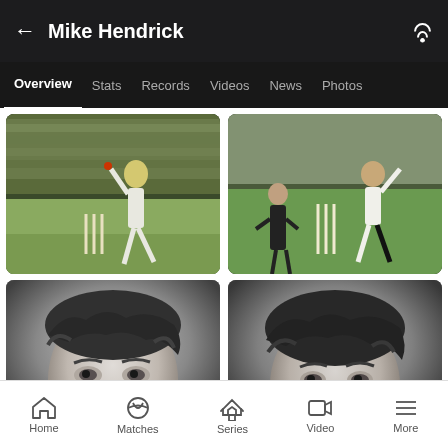Mike Hendrick
[Figure (screenshot): Navigation tabs: Overview (active), Stats, Records, Videos, News, Photos]
[Figure (photo): Cricket bowler in action at crease, color photo, crowd in background, yellow advertising hoarding with 'BI' text]
[Figure (photo): Cricket bowler delivering ball near stumps, color photo, crowd and advertising boards in background reading 'oke someone']
[Figure (photo): Black and white close-up portrait of a young man with wavy hair, looking upward]
[Figure (photo): Black and white close-up portrait of a young man with wavy hair, similar pose]
Home  Matches  Series  Video  More